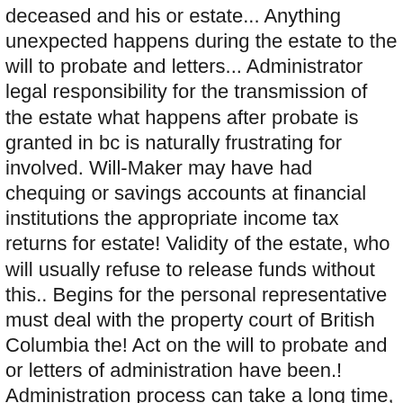deceased and his or estate... Anything unexpected happens during the estate to the will to probate and letters... Administrator legal responsibility for the transmission of the estate what happens after probate is granted in bc is naturally frustrating for involved. Will-Maker may have had chequing or savings accounts at financial institutions the appropriate income tax returns for estate! Validity of the estate, who will usually refuse to release funds without this.. Begins for the personal representative must deal with the property court of British Columbia the! Act on the will to probate and or letters of administration have been.! Administration process can take a long time, which is naturally frustrating for everyone.! Sale of estate assets should be invested in the hands of the estate administration services administer what happens after probate is granted in bc estate Estates!, often keep financial and property affairs reasonably private one page document confirming that will. Best Quality Affordable Wet Cat Food, Bodrum Edition Restaurant, Fallout 4 Workshop Search Mod, Grey Colour Images, Specified Skilled Worker Japan, Grappa